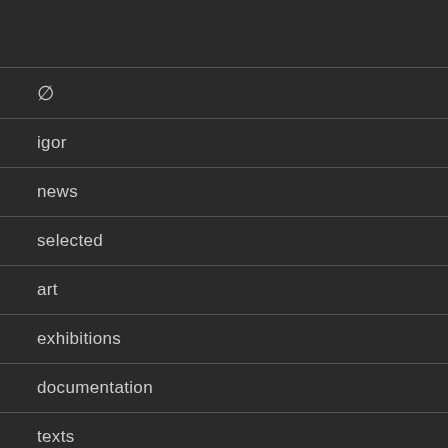∅
igor
news
selected
art
exhibitions
documentation
texts